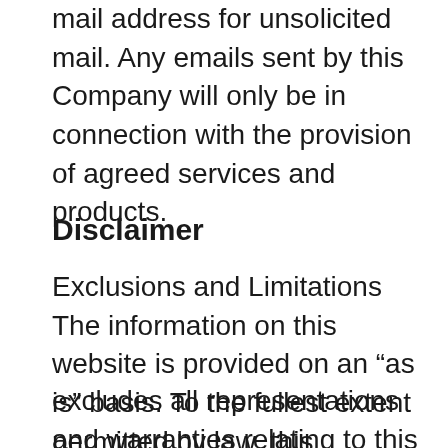mail address for unsolicited mail. Any emails sent by this Company will only be in connection with the provision of agreed services and products.
Disclaimer
Exclusions and Limitations The information on this website is provided on an “as is” basis. To the fullest extent permitted by law, this Company:
excludes all representations and warranties relating to this website and its contents or which is or may be provided by any affiliates or any other third party, including in relation